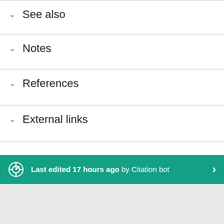See also
Notes
References
External links
Last edited 17 hours ago by Citation bot